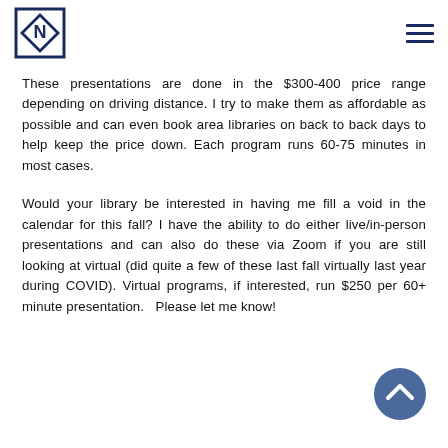[Logo: N diamond icon] [Hamburger menu]
These presentations are done in the $300-400 price range depending on driving distance. I try to make them as affordable as possible and can even book area libraries on back to back days to help keep the price down. Each program runs 60-75 minutes in most cases.
Would your library be interested in having me fill a void in the calendar for this fall? I have the ability to do either live/in-person presentations and can also do these via Zoom if you are still looking at virtual (did quite a few of these last fall virtually last year during COVID). Virtual programs, if interested, run $250 per 60+ minute presentation.   Please let me know!